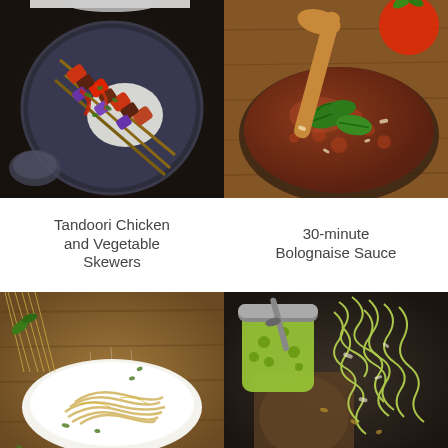[Figure (photo): Overhead shot of tandoori chicken and vegetable skewers on a dark plate with white rice, dark moody background]
[Figure (photo): Overhead shot of bolognaise sauce in a pan with wooden spoon, fresh basil leaves, and a tomato on wooden surface]
Tandoori Chicken and Vegetable Skewers
30-minute Bolognaise Sauce
[Figure (photo): White plate of pasta with herbs and cheese on wooden table with raw spaghetti in background]
[Figure (photo): Green pesto in a glass jar with a spoon alongside zucchini noodles on a dark wooden board]